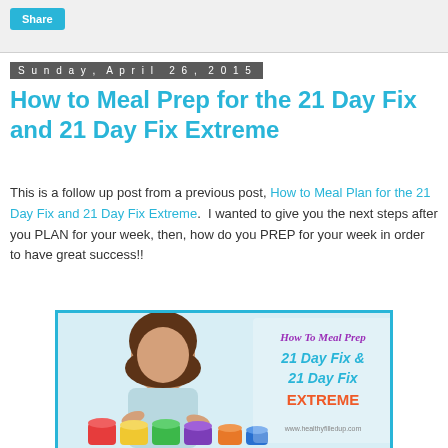Share
Sunday, April 26, 2015
How to Meal Prep for the 21 Day Fix and 21 Day Fix Extreme
This is a follow up post from a previous post, How to Meal Plan for the 21 Day Fix and 21 Day Fix Extreme.  I wanted to give you the next steps after you PLAN for your week, then, how do you PREP for your week in order to have great success!!
[Figure (photo): A woman smiling leaning over colorful meal prep containers with text overlay reading 'How To Meal Prep 21 Day Fix & 21 Day Fix Extreme' and website www.healthyfilledup.com]